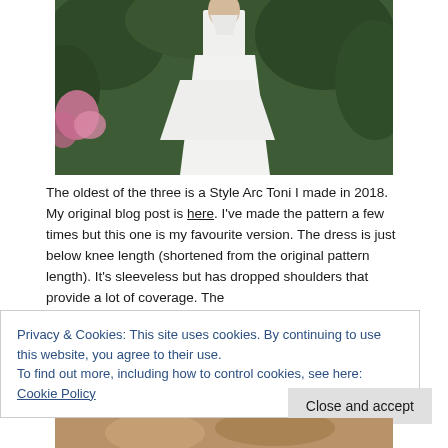[Figure (photo): A woman wearing a white sleeveless dress with dropped shoulders, standing in front of green bushes. Pink flowers are visible on the left side.]
The oldest of the three is a Style Arc Toni I made in 2018. My original blog post is here. I've made the pattern a few times but this one is my favourite version. The dress is just below knee length (shortened from the original pattern length). It's sleeveless but has dropped shoulders that provide a lot of coverage. The
Privacy & Cookies: This site uses cookies. By continuing to use this website, you agree to their use.
To find out more, including how to control cookies, see here: Cookie Policy
[Figure (photo): Partial view of another photo at the bottom of the page, showing warm tones suggesting a person outdoors.]